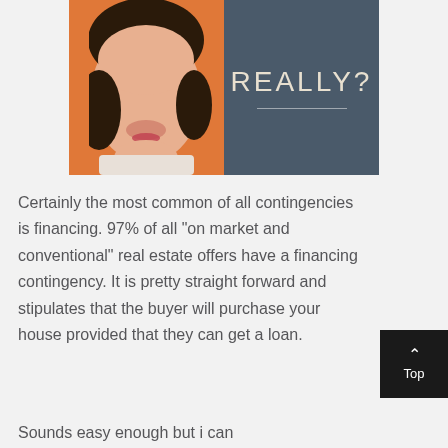[Figure (photo): Composite image: left half shows a woman's face with an orange/warm background, right half is a dark slate-blue panel with the word 'REALLY?' in large light letters and a horizontal line beneath it.]
Certainly the most common of all contingencies is financing. 97% of all “on market and conventional” real estate offers have a financing contingency. It is pretty straight forward and stipulates that the buyer will purchase your house provided that they can get a loan.
Sounds easy enough but i can